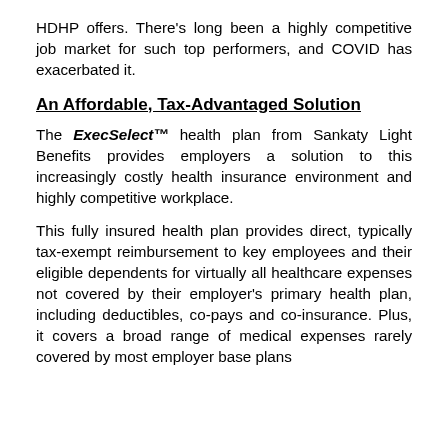HDHP offers.  There's long been a highly competitive job market for such top performers, and COVID has exacerbated it.
An Affordable, Tax-Advantaged Solution
The ExecSelect™ health plan from Sankaty Light Benefits provides employers a solution to this increasingly costly health insurance environment and highly competitive workplace.
This fully insured health plan provides direct, typically tax-exempt reimbursement to key employees and their eligible dependents for virtually all healthcare expenses not covered by their employer's primary health plan, including deductibles, co-pays and co-insurance.  Plus, it covers a broad range of medical expenses rarely covered by most employer base plans